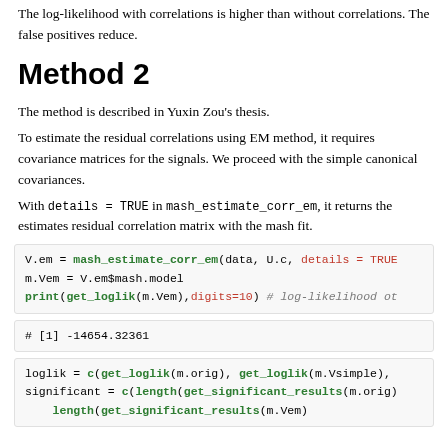The log-likelihood with correlations is higher than without correlations. The false positives reduce.
Method 2
The method is described in Yuxin Zou's thesis.
To estimate the residual correlations using EM method, it requires covariance matrices for the signals. We proceed with the simple canonical covariances.
With details = TRUE in mash_estimate_corr_em, it returns the estimates residual correlation matrix with the mash fit.
V.em = mash_estimate_corr_em(data, U.c, details = TRUE
m.Vem = V.em$mash.model
print(get_loglik(m.Vem),digits=10) # log-likelihood ot
# [1] -14654.32361
loglik = c(get_loglik(m.orig), get_loglik(m.Vsimple),
significant = c(length(get_significant_results(m.orig)
    length(get_significant_results(m.Vem)